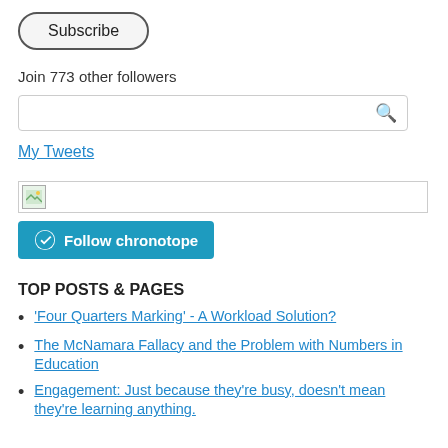Subscribe
Join 773 other followers
[Figure (other): Search input box with magnifying glass icon]
My Tweets
[Figure (other): Broken image placeholder with small thumbnail]
Follow chronotope
TOP POSTS & PAGES
'Four Quarters Marking' - A Workload Solution?
The McNamara Fallacy and the Problem with Numbers in Education
Engagement: Just because they're busy, doesn't mean they're learning anything.